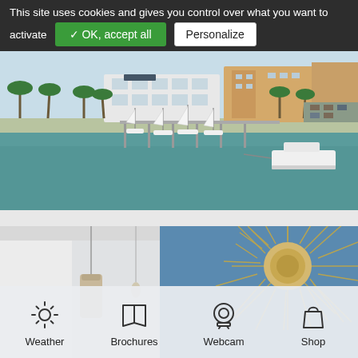This site uses cookies and gives you control over what you want to activate   ✓ OK, accept all   Personalize
[Figure (photo): Aerial view of a marina with sailboats and a motor yacht docked at a pier, palm trees along the waterfront, white Mediterranean-style buildings in the background, teal-green water]
[Figure (photo): Split image: left side shows a white interior room with a cylindrical lamp; right side shows a straw sunburst wall decoration on a blue wall]
Weather
Brochures
Webcam
Shop